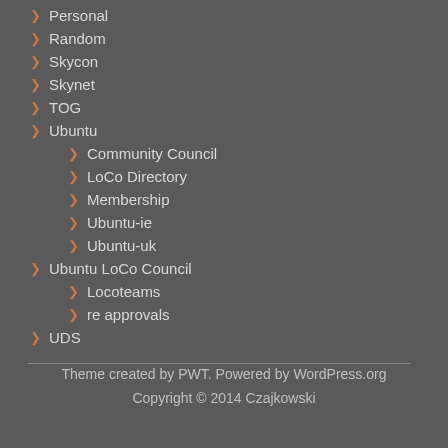Personal
Random
Skycon
Skynet
TOG
Ubuntu
Community Council
LoCo Directory
Membership
Ubuntu-ie
Ubuntu-uk
Ubuntu LoCo Council
Locoteams
re approvals
UDS
Theme created by PWT. Powered by WordPress.org
Copyright © 2014 Czajkowski